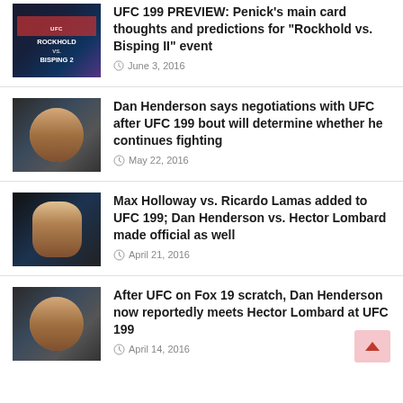[Figure (photo): UFC 199 promotional image with Rockhold vs Bisping 2 text]
UFC 199 PREVIEW: Penick's main card thoughts and predictions for “Rockhold vs. Bisping II” event
June 3, 2016
[Figure (photo): Dan Henderson fighter photo, smiling MMA fighter]
Dan Henderson says negotiations with UFC after UFC 199 bout will determine whether he continues fighting
May 22, 2016
[Figure (photo): Max Holloway fighter photo in octagon]
Max Holloway vs. Ricardo Lamas added to UFC 199; Dan Henderson vs. Hector Lombard made official as well
April 21, 2016
[Figure (photo): Dan Henderson fighter photo, smiling MMA fighter]
After UFC on Fox 19 scratch, Dan Henderson now reportedly meets Hector Lombard at UFC 199
April 14, 2016